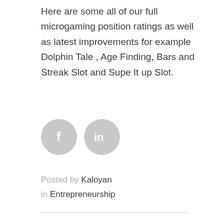Here are some all of our full microgaming position ratings as well as latest improvements for example Dolphin Tale , Age Finding, Bars and Streak Slot and Supe It up Slot.
[Figure (other): Two circular social media icon buttons: Facebook (f) and LinkedIn (in), in grey color]
Posted by Kaloyan in Entrepreneurship